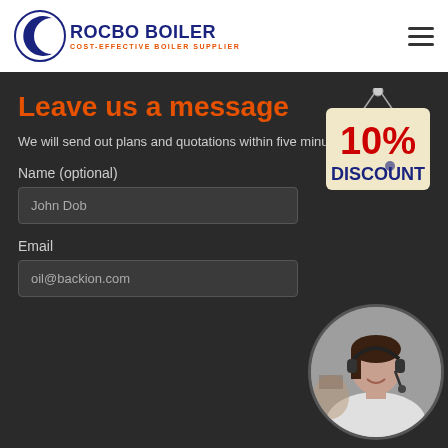[Figure (logo): Rocbo Boiler logo with crescent moon icon and text 'ROCBO BOILER / COST-EFFECTIVE BOILER SUPPLIER']
Leave us a message
We will send out plans and quotations within five minutes
[Figure (illustration): 10% Discount badge — hanging tag with red '10%' and blue 'DISCOUNT' text]
Name (optional)
John Dob
Email
oil@backion.com
[Figure (photo): Customer service representative woman with headset, smiling, in a circular crop]